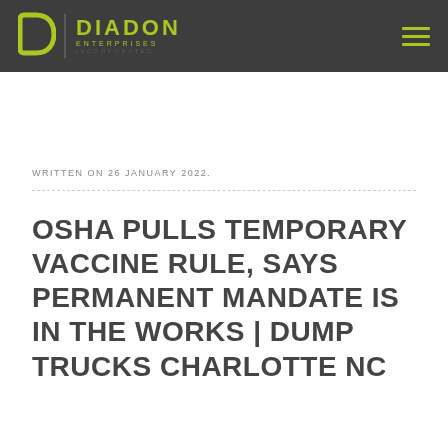[Figure (logo): Diadon Enterprises Incorporated logo with stylized D and yellow-green text on dark grey header bar]
WRITTEN ON 26 JANUARY 2022.
OSHA PULLS TEMPORARY VACCINE RULE, SAYS PERMANENT MANDATE IS IN THE WORKS | DUMP TRUCKS CHARLOTTE NC